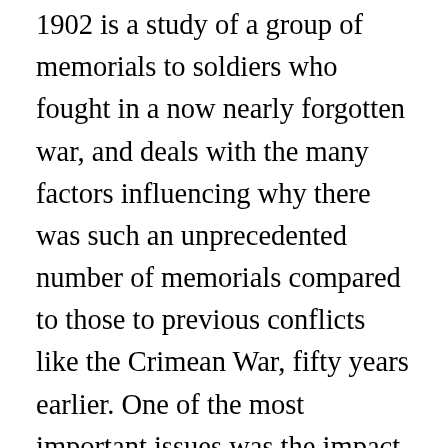1902 is a study of a group of memorials to soldiers who fought in a now nearly forgotten war, and deals with the many factors influencing why there was such an unprecedented number of memorials compared to those to previous conflicts like the Crimean War, fifty years earlier. One of the most important issues was the impact of changes in the organization of the British Army in the late 1800s, particularly the creation of locally-based regiments, heavily manned by volunteers drawn from local communities. The book includes a detailed commentary on the social conditions in England that also account for the unprecedented number of commemorations of this conflict. It discusses the variety of forms memorials took: informal –